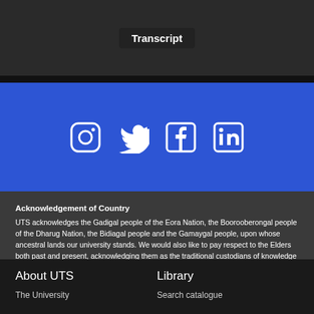[Figure (screenshot): Dark blurred background image of a room with wooden furniture, showing a 'Transcript' button in the center]
[Figure (infographic): Blue banner with white social media icons: Instagram, Twitter, Facebook, LinkedIn]
Acknowledgement of Country
UTS acknowledges the Gadigal people of the Eora Nation, the Boorooberongal people of the Dharug Nation, the Bidiagal people and the Gamaygal people, upon whose ancestral lands our university stands. We would also like to pay respect to the Elders both past and present, acknowledging them as the traditional custodians of knowledge for these lands.
About UTS
Library
The University
Search catalogue